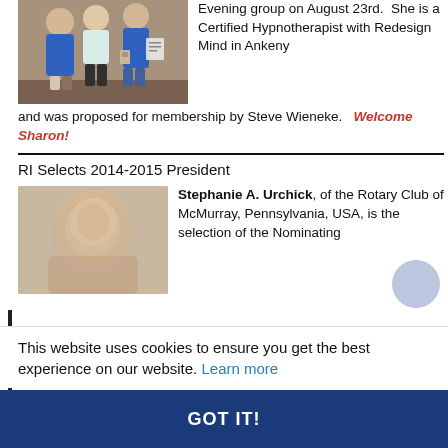[Figure (photo): Two people standing indoors, one in blue shirt, one in white/light top and dark pants; a third person visible holding papers]
Evening group on August 23rd. She is a Certified Hypnotherapist with Redesign Mind in Ankeny and was proposed for membership by Steve Wieneke. Welcome Sharon!
RI Selects 2014-2015 President
[Figure (photo): Blurred/pixelated portrait photo of a person]
Stephanie A. Urchick, of the Rotary Club of McMurray, Pennsylvania, USA, is the selection of the Nominating
This website uses cookies to ensure you get the best experience on our website. Learn more
GOT IT!